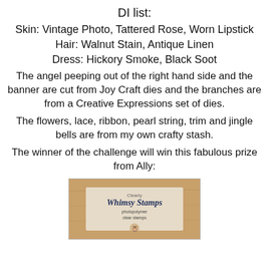DI list:
Skin: Vintage Photo, Tattered Rose, Worn Lipstick
Hair: Walnut Stain, Antique Linen
Dress: Hickory Smoke, Black Soot
The angel peeping out of the right hand side and the banner are cut from Joy Craft dies and the branches are from a Creative Expressions set of dies.
The flowers, lace, ribbon, pearl string, trim and jingle bells are from my own crafty stash.
The winner of the challenge will win this fabulous prize from Ally:
[Figure (photo): A photo of a Clearly Whimsy Stamps photopolymer clear stamps product packaging on a wooden surface.]